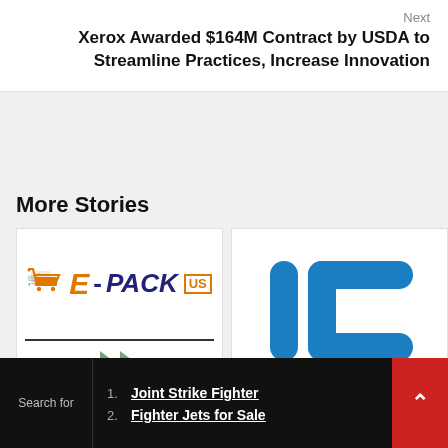Next
Xerox Awarded $164M Contract by USDA to Streamline Practices, Increase Innovation
More Stories
[Figure (logo): E-PACK US company logo with shopping cart icon]
[Figure (logo): IP logo with blue vertical bar and horizontal bracket shape]
Search for
1. Joint Strike Fighter
2. Fighter Jets for Sale